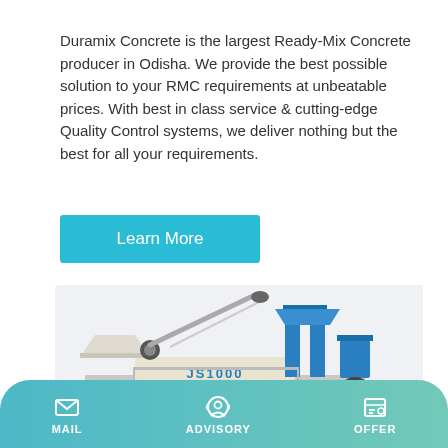Duramix Concrete is the largest Ready-Mix Concrete producer in Odisha. We provide the best possible solution to your RMC requirements at unbeatable prices. With best in class service & cutting-edge Quality Control systems, we deliver nothing but the best for all your requirements.
[Figure (other): A cyan/teal 'Learn More' button]
[Figure (photo): Photo of a Ready-Mix Concrete machine labeled JS1000, with blue and beige/white components including a mixer drum, conveyor, and hoppers on a light gray background.]
MAIL   ADVISORY   OFFER